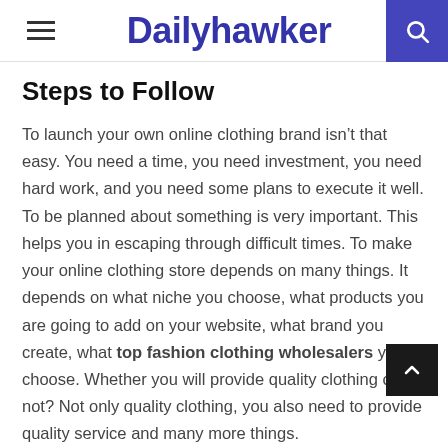Dailyhawker
Steps to Follow
To launch your own online clothing brand isn't that easy. You need a time, you need investment, you need hard work, and you need some plans to execute it well. To be planned about something is very important. This helps you in escaping through difficult times. To make your online clothing store depends on many things. It depends on what niche you choose, what products you are going to add on your website, what brand you create, what top fashion clothing wholesalers you choose. Whether you will provide quality clothing or not? Not only quality clothing, you also need to provide quality service and many more things.
The answer to “How Do I Start an Online Clothing